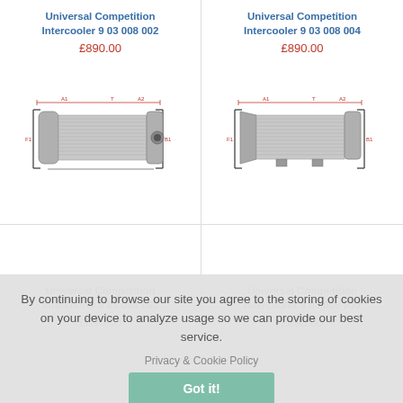Universal Competition Intercooler 9 03 008 002
£890.00
[Figure (illustration): Technical diagram of Universal Competition Intercooler 9 03 008 002 showing front view with dimension annotations]
Universal Competition Intercooler 9 03 008 004
£890.00
[Figure (illustration): Technical diagram of Universal Competition Intercooler 9 03 008 004 showing front view with dimension annotations]
By continuing to browse our site you agree to the storing of cookies on your device to analyze usage so we can provide our best service.
Privacy & Cookie Policy
Got it!
Universal Competition Intercooler 9 03 008 007
£890.00
Universal Competition Intercooler 9 03 008 009
£890.00